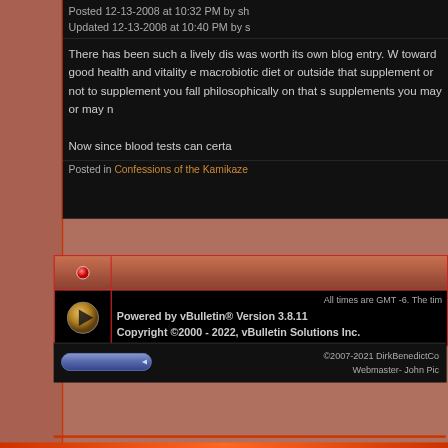Posted 12-13-2008 at 10:32 PM by sh
Updated 12-13-2008 at 10:40 PM by s
There has been such a lively dis was worth its own blog entry. W toward good health and vitality e macrobiotic diet or outside that supplement or not to supplement you fall philosophically on that s supplements you may or may n
Now since blood tests can certa
Posted in Confessions of the Kamikaze
All times are GMT -6. The tim
Powered by vBulletin® Version 3.8.11
Copyright ©2000 - 2022, vBulletin Solutions Inc.
©2007-2021 DirkBenedictCo
Webmaster- John Pic